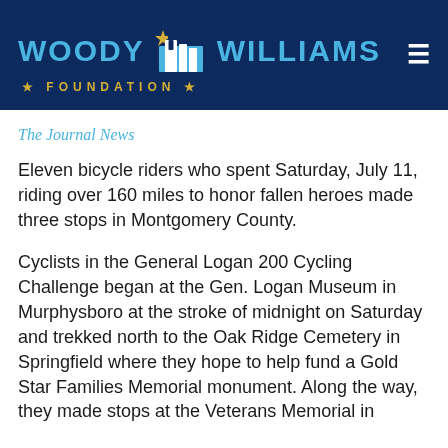Woody Williams Foundation
The Journal News
Eleven bicycle riders who spent Saturday, July 11, riding over 160 miles to honor fallen heroes made three stops in Montgomery County.
Cyclists in the General Logan 200 Cycling Challenge began at the Gen. Logan Museum in Murphysboro at the stroke of midnight on Saturday and trekked north to the Oak Ridge Cemetery in Springfield where they hope to help fund a Gold Star Families Memorial monument. Along the way, they made stops at the Veterans Memorial in